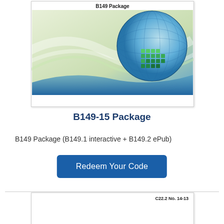[Figure (illustration): Book cover image for B149 Package showing a globe with green grid squares on a blue and green swirling background, with title 'B149 Package' at top]
B149-15 Package
B149 Package (B149.1 interactive + B149.2 ePub)
[Figure (other): Redeem Your Code button — dark blue rounded rectangle]
[Figure (illustration): Partial book cover for C22.2 No. 14-13 at bottom of page]